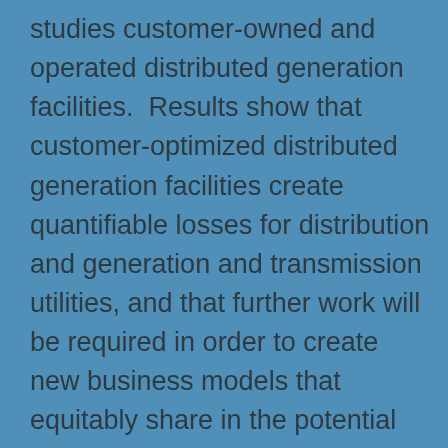studies customer-owned and operated distributed generation facilities.  Results show that customer-optimized distributed generation facilities create quantifiable losses for distribution and generation and transmission utilities, and that further work will be required in order to create new business models that equitably share in the potential technical and economic benefits of distributed generation.  This article was written in part by our very own Ray C. Duthu, a Senior Energy Analyst/Consultant at Ascend Analytics.